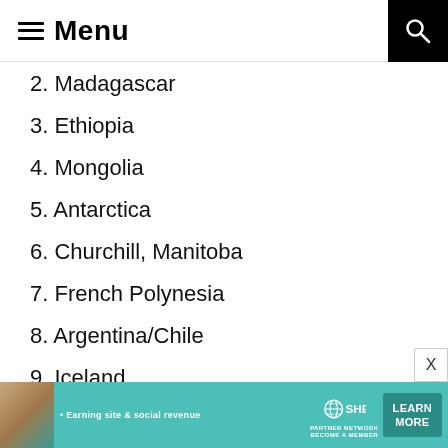Menu
2. Madagascar
3. Ethiopia
4. Mongolia
5. Antarctica
6. Churchill, Manitoba
7. French Polynesia
8. Argentina/Chile
9. Iceland
10. Amazon Rainforest
• Earning site & social revenue  SHE PARTNER NETWORK BECOME A MEMBER  LEARN MORE